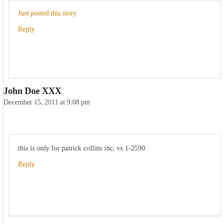Just posted this story
Reply
John Doe XXX
December 15, 2011 at 9:08 pm
this is only for patrick collins inc. vs 1-2590
Reply